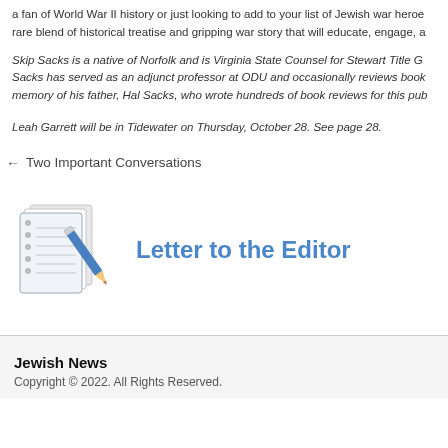a fan of World War II history or just looking to add to your list of Jewish war heroes, rare blend of historical treatise and gripping war story that will educate, engage, a
Skip Sacks is a native of Norfolk and is Virginia State Counsel for Stewart Title G. Sacks has served as an adjunct professor at ODU and occasionally reviews book memory of his father, Hal Sacks, who wrote hundreds of book reviews for this pub
Leah Garrett will be in Tidewater on Thursday, October 28. See page 28.
← Two Important Conversations
[Figure (illustration): Notebook and pencil icon representing Letter to the Editor section]
Letter to the Editor
Jewish News
Copyright © 2022. All Rights Reserved.